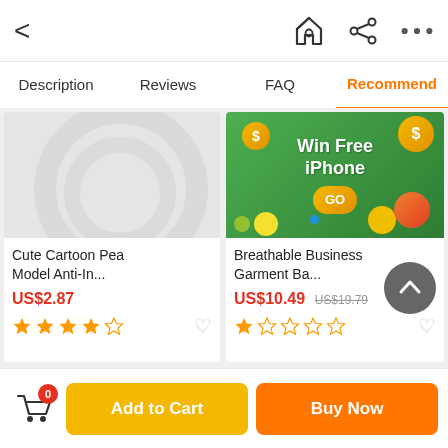< [back] [home] [share] [more]
Description | Reviews | FAQ | Recommend
[Figure (screenshot): Product card: Cute Cartoon Pea Model Anti-In... priced at US$2.87 with 4-star rating]
Cute Cartoon Pea Model Anti-In...
US$2.87
[Figure (screenshot): Product card: Breathable Business Garment Ba... priced at US$10.49 (was US$19.79) with 1-star rating, overlaid with Win Free iPhone promotional banner]
Breathable Business Garment Ba...
US$10.49 US$19.79
0 | Add to Cart | Buy Now